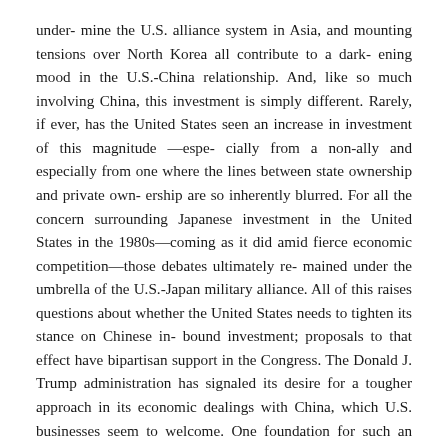under- mine the U.S. alliance system in Asia, and mounting tensions over North Korea all contribute to a dark- ening mood in the U.S.-China relationship. And, like so much involving China, this investment is simply different. Rarely, if ever, has the United States seen an increase in investment of this magnitude —espe- cially from a non-ally and especially from one where the lines between state ownership and private own- ership are so inherently blurred. For all the concern surrounding Japanese investment in the United States in the 1980s—coming as it did amid fierce economic competition—those debates ultimately re- mained under the umbrella of the U.S.-Japan military alliance. All of this raises questions about whether the United States needs to tighten its stance on Chinese in- bound investment; proposals to that effect have bipartisan support in the Congress. The Donald J. Trump administration has signaled its desire for a tougher approach in its economic dealings with China, which U.S. businesses seem to welcome. One foundation for such an approach is the principle of reciprocity. Roughly two dozen sectors in China—construction, mining, banking, insurance